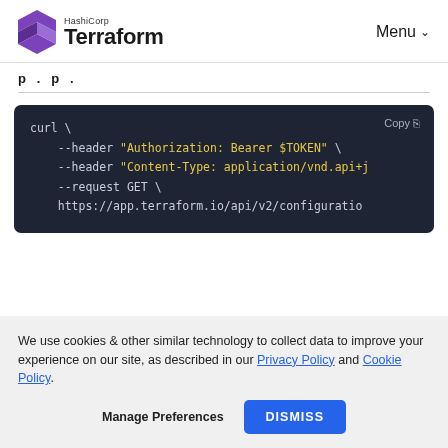HashiCorp Terraform | Menu
p . p .
[Figure (screenshot): Dark code block showing a curl command with --header Authorization Bearer $TOKEN, --header Content-Type application/vnd.api+j, --request GET, and https://app.terraform.io/api/v2/configuratio, with a Copy button in top right]
We use cookies & other similar technology to collect data to improve your experience on our site, as described in our Privacy Policy and Cookie Policy.
Manage Preferences   DISMISS